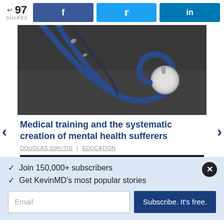97 SHARES
[Figure (photo): Close-up photograph of a stethoscope on a dark background]
Medical training and the systematic creation of mental health sufferers
DOUGLAS SIRUTIS | EDUCATION
✓ Join 150,000+ subscribers
✓ Get KevinMD's most popular stories
Email
Subscribe. It's free.